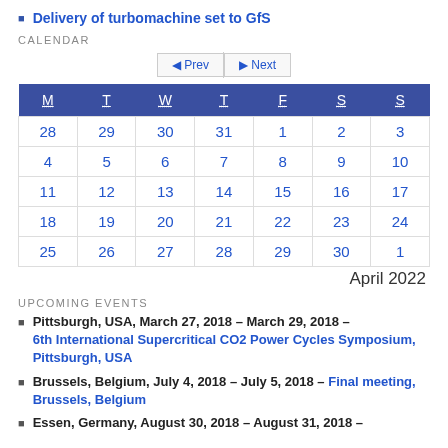Delivery of turbomachine set to GfS
CALENDAR
| M | T | W | T | F | S | S |
| --- | --- | --- | --- | --- | --- | --- |
| 28 | 29 | 30 | 31 | 1 | 2 | 3 |
| 4 | 5 | 6 | 7 | 8 | 9 | 10 |
| 11 | 12 | 13 | 14 | 15 | 16 | 17 |
| 18 | 19 | 20 | 21 | 22 | 23 | 24 |
| 25 | 26 | 27 | 28 | 29 | 30 | 1 |
April 2022
UPCOMING EVENTS
Pittsburgh, USA, March 27, 2018 – March 29, 2018 – 6th International Supercritical CO2 Power Cycles Symposium, Pittsburgh, USA
Brussels, Belgium, July 4, 2018 – July 5, 2018 – Final meeting, Brussels, Belgium
Essen, Germany, August 30, 2018 – August 31, 2018 –